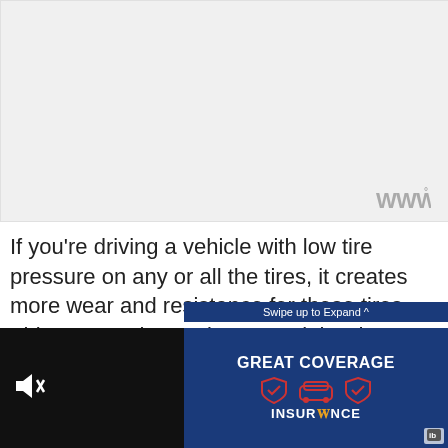[Figure (photo): Large light gray/white image placeholder area at the top of the page, approximately 448x220px. A watermark or logo icon appears in the bottom-right corner of the image area consisting of stylized 'W' characters with a degree symbol.]
If you’re driving a vehicle with low tire pressure on any or all the tires, it creates more wear and resistance for those tires. This causes the engine to work harder to make up for the additional drag, which
[Figure (screenshot): Advertisement overlay at the bottom of the page. Left portion shows a video player with dark background and a muted speaker icon. Right portion is a blue banner ad with text 'Swipe up to Expand ^' at top, 'GREAT COVERAGE' in bold white text, three insurance-related icons (checkmark shield, car, checkmark shield), and 'INSURONCE' branding logo. There is also a close button (X) and a search/magnify button visible.]